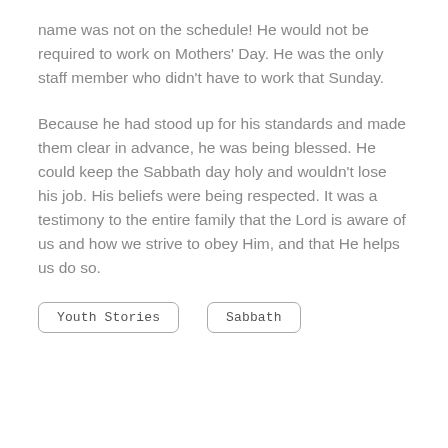name was not on the schedule! He would not be required to work on Mothers' Day. He was the only staff member who didn't have to work that Sunday.
Because he had stood up for his standards and made them clear in advance, he was being blessed. He could keep the Sabbath day holy and wouldn't lose his job. His beliefs were being respected. It was a testimony to the entire family that the Lord is aware of us and how we strive to obey Him, and that He helps us do so.
Youth Stories
Sabbath